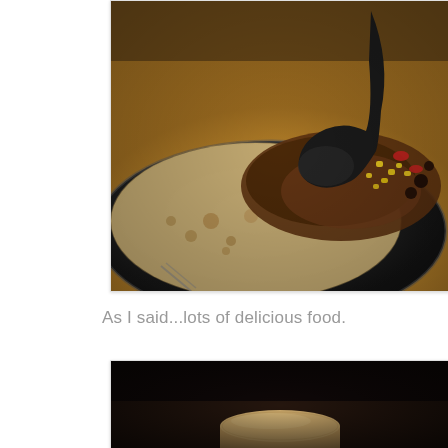[Figure (photo): Food photo showing a black plate/bowl with a flour tortilla and meat filling being spooned with a dark ladle. The filling includes ground beef, corn, red peppers, and beans. Warm amber/brown tones, shallow depth of field, fork visible at bottom.]
As I said...lots of delicious food.
[Figure (photo): Close-up food photo with very dark background showing what appears to be a piece of bread or baked good on a surface. Dark, moody lighting with warm tones.]